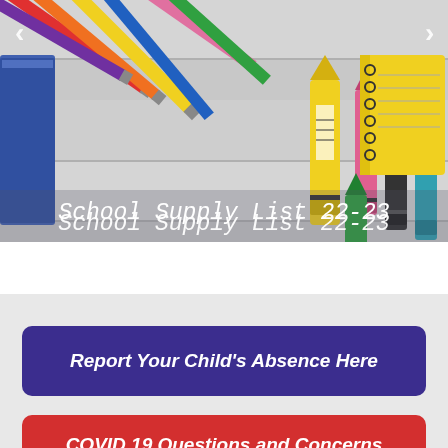[Figure (photo): Photo of colorful pencils and crayons arranged on a white wooden surface, used as a carousel/slider image for a school website. Navigation arrows on left and right sides.]
School Supply List 22-23
Report Your Child's Absence Here
COVID 19 Questions and Concerns